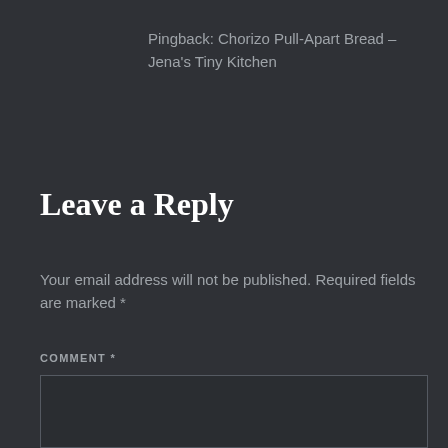Pingback: Chorizo Pull-Apart Bread – Jena's Tiny Kitchen
Leave a Reply
Your email address will not be published. Required fields are marked *
COMMENT *